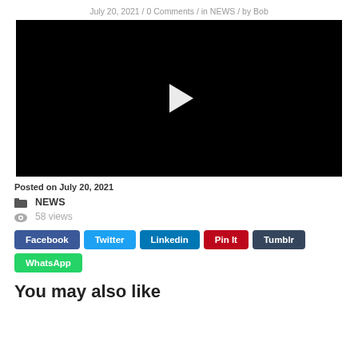July 20, 2021 / 0 Comments / in NEWS / by Bob
[Figure (other): Black video player with white play button in center]
Posted on July 20, 2021
NEWS
58 views
Facebook  Twitter  Linkedin  Pin It  Tumblr  WhatsApp
You may also like